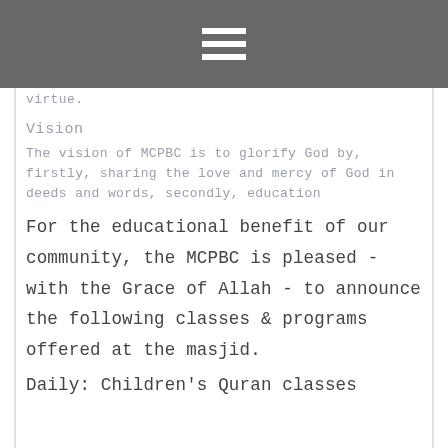[Figure (other): Gray header bar with hamburger menu icon (three horizontal white lines)]
virtue.
Vision
The vision of MCPBC is to glorify God by, firstly, sharing the love and mercy of God in deeds and words, secondly, education
For the educational benefit of our community, the MCPBC is pleased - with the Grace of Allah - to announce the following classes & programs offered at the masjid.
Daily: Children's Quran classes